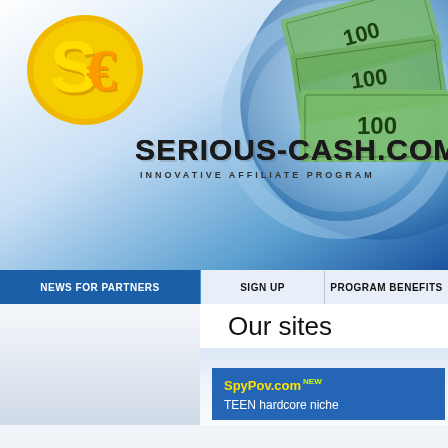[Figure (screenshot): Serious-Cash.com website header with logo featuring SC badge in gold/yellow, site name in bold black text, tagline INNOVATIVE AFFILIATE PROGRAM, and money/dollar bills imagery on blue gradient background]
NEWS FOR PARTNERS | SIGN UP | PROGRAM BENEFITS
Our sites
SpyPov.com NEW
TEEN hardcore niche